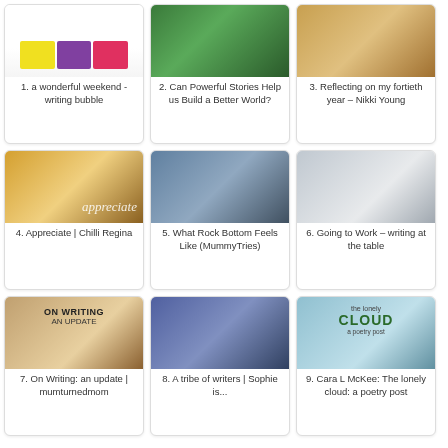[Figure (photo): Thumbnail image with colored stripes (yellow, purple, pink) on white background]
1. a wonderful weekend - writing bubble
[Figure (photo): Green foliage/nature photo]
2. Can Powerful Stories Help us Build a Better World?
[Figure (photo): Warm-toned decorative image]
3. Reflecting on my fortieth year – Nikki Young
[Figure (photo): Golden field with sunlight, text overlay 'appreciate']
4. Appreciate | Chilli Regina
[Figure (photo): Person from behind with text overlay about Rock Bottom]
5. What Rock Bottom Feels Like (MummyTries)
[Figure (photo): Bright bedroom with white bedding near window]
6. Going to Work – writing at the table
[Figure (photo): Text image: ON WRITING AN UPDATE with teacup]
7. On Writing: an update | mumturnedmom
[Figure (photo): Group photo of three women smiling]
8. A tribe of writers | Sophie is...
[Figure (photo): Cloud illustration with text: the lonely CLOUD a poetry post]
9. Cara L McKee: The lonely cloud: a poetry post